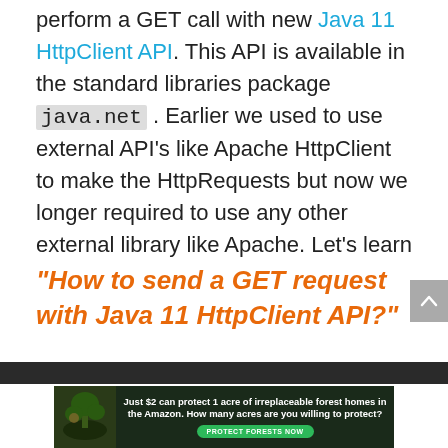perform a GET call with new Java 11 HttpClient API. This API is available in the standard libraries package java.net . Earlier we used to use external API's like Apache HttpClient to make the HttpRequests but now we longer required to use any other external library like Apache. Let's learn
"How to send a GET request with Java 11 HttpClient API?"
[Figure (infographic): Advertisement banner: forest/Amazon conservation ad. Text: 'Just $2 can protect 1 acre of irreplaceable forest homes in the Amazon. How many acres are you willing to protect?' with a green 'PROTECT FORESTS NOW' button. Dark background with forest imagery on the left.]